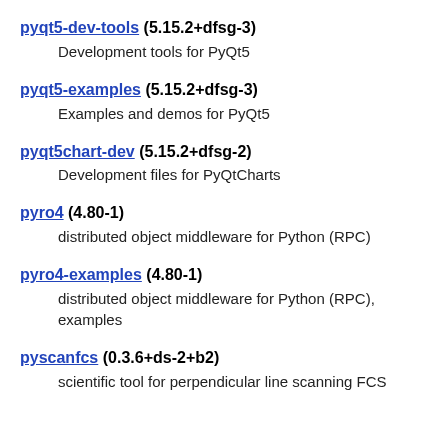pyqt5-dev-tools (5.15.2+dfsg-3)
Development tools for PyQt5
pyqt5-examples (5.15.2+dfsg-3)
Examples and demos for PyQt5
pyqt5chart-dev (5.15.2+dfsg-2)
Development files for PyQtCharts
pyro4 (4.80-1)
distributed object middleware for Python (RPC)
pyro4-examples (4.80-1)
distributed object middleware for Python (RPC), examples
pyscanfcs (0.3.6+ds-2+b2)
scientific tool for perpendicular line scanning FCS